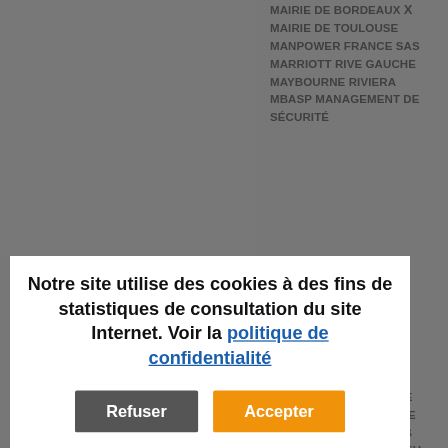MAIRIE DE BORDEAUX X
MAIRIE DE TOULOUSE
MANPOWER FRANCE SAS
MARRIOTT RIVE GAUCHE
MAYBOURNE RIVIERA
MBASP MANAGEMENT DE SÉCURITÉ
Notre site utilise des cookies à des fins de statistiques de consultation du site Internet. Voir la politique de confidentialité
Refuser | Accepter
MINISTERE DE L'INTERIEUR
MINISTERE DE L'EUROPE AFFAIRES ETRANGERES
MINISTERE DE L'INTERIEUR
MINISTERE DE LA JUSTICE
MINISTÈRE DES AFFAIRES ÉTRANGÈRES ET EUROPÉENNE
MINISTÈRE DES ARMÉES - DU RENSEIGNEMENT ET DE SÉCURITÉ DE LA DÉFENSE
MINISTERE INTERIEUR
MONNAIE DE PARIS
MONOPRIX
MONOPRIX PRODISTRIBUTION
MONOR